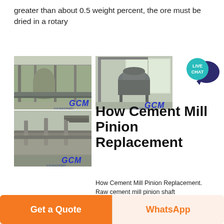greater than about 0.5 weight percent, the ore must be dried in a rotary
[Figure (photo): Two industrial machinery photos showing GCM equipment in factory settings (top image: conveyor/silo equipment; bottom image: conveyor belt system). GCM branding visible.]
[Figure (photo): Industrial GCM machinery photo showing large crusher/mill equipment in a warehouse.]
[Figure (illustration): Live Chat speech bubble icon in teal/dark blue]
How Cement Mill Pinion Replacement
How Cement Mill Pinion Replacement. Raw cement mill pinion shaft jkhealthcarecoin raw mills and cement mill drives slip ring induction motors of 66 required for the raw and cement mill drives and due to the each cement mill torsion shaft sand more fl ball mill for cement grinding fl ball mill for cement grinding
Get a Quote
WhatsApp